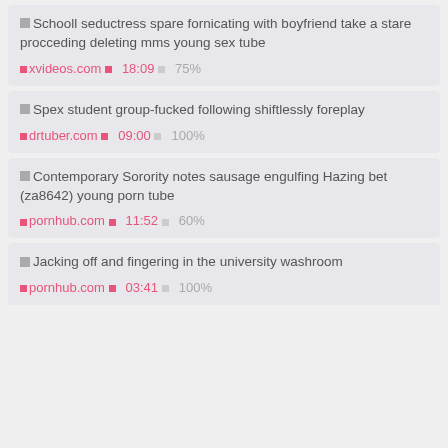Schooll seductress spare fornicating with boyfriend take a stare procceding deleting mms young sex tube | xvideos.com | 18:09 | 75%
Spex student group-fucked following shiftlessly foreplay | drtuber.com | 09:00 | 100%
Contemporary Sorority notes sausage engulfing Hazing bet (za8642) young porn tube | pornhub.com | 11:52 | 60%
Jacking off and fingering in the university washroom | pornhub.com | 03:41 | 100%